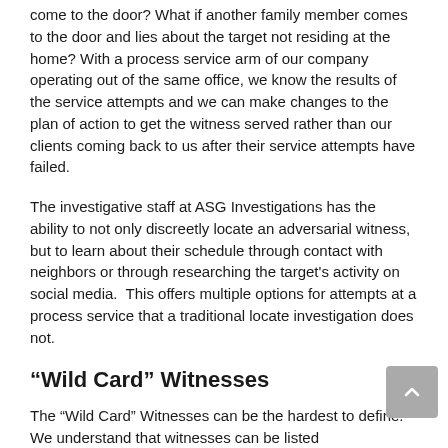come to the door? What if another family member comes to the door and lies about the target not residing at the home? With a process service arm of our company operating out of the same office, we know the results of the service attempts and we can make changes to the plan of action to get the witness served rather than our clients coming back to us after their service attempts have failed.
The investigative staff at ASG Investigations has the ability to not only discreetly locate an adversarial witness, but to learn about their schedule through contact with neighbors or through researching the target’s activity on social media. This offers multiple options for attempts at a process service that a traditional locate investigation does not.
“Wild Card” Witnesses
The “Wild Card” Witnesses can be the hardest to define. We understand that witnesses can be listed